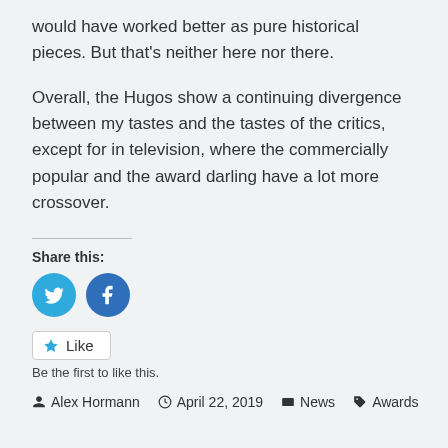would have worked better as pure historical pieces. But that's neither here nor there.
Overall, the Hugos show a continuing divergence between my tastes and the tastes of the critics, except for in television, where the commercially popular and the award darling have a lot more crossover.
Share this:
[Figure (other): Twitter and Facebook share icon buttons (circular blue icons)]
[Figure (other): Like button widget]
Be the first to like this.
Alex Hormann   April 22, 2019   News   Awards